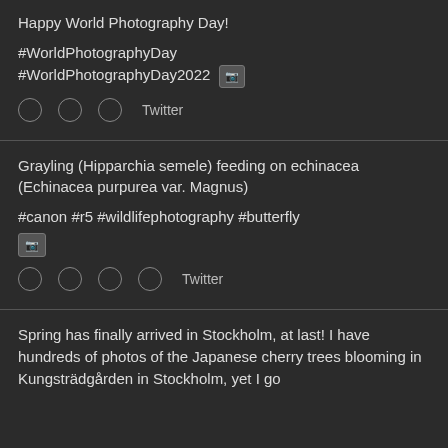Happy World Photography Day!
#WorldPhotographyDay #WorldPhotographyDay2022 [image icon]
Twitter
Grayling (Hipparchia semele) feeding on echinacea (Echinacea purpurea var. Magnus)
#canon #r5 #wildlifephotography #butterfly [image icon]
Twitter
Spring has finally arrived in Stockholm, at last! I have hundreds of photos of the Japanese cherry trees blooming in Kungsträdgården in Stockholm, yet I go the...